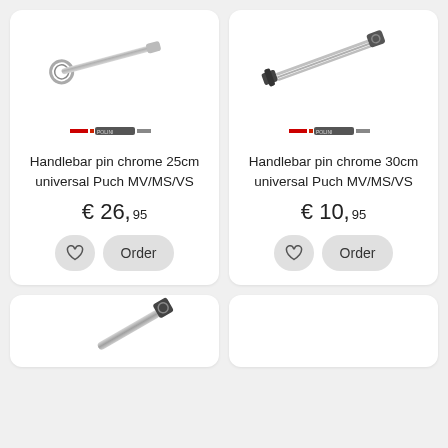[Figure (photo): Handlebar pin chrome 25cm product photo - a chrome metal bar with ring clamp on one end]
Handlebar pin chrome 25cm universal Puch MV/MS/VS
€ 26,95
[Figure (photo): Handlebar pin chrome 30cm product photo - a longer chrome metal bar with clamp fittings on both ends]
Handlebar pin chrome 30cm universal Puch MV/MS/VS
€ 10,95
[Figure (photo): Partial view of another handlebar pin product at the bottom of the page]